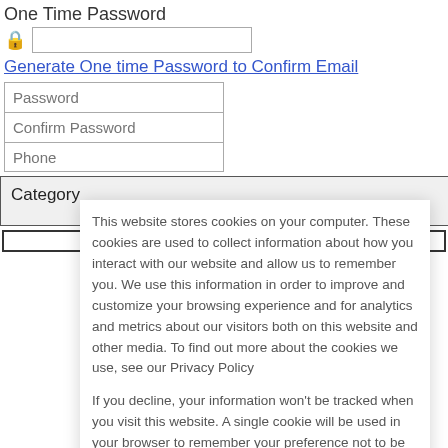One Time Password
🔒 [OTP input field]
Generate One time Password to Confirm Email
Password
Confirm Password
Phone
Category
This website stores cookies on your computer. These cookies are used to collect information about how you interact with our website and allow us to remember you. We use this information in order to improve and customize your browsing experience and for analytics and metrics about our visitors both on this website and other media. To find out more about the cookies we use, see our Privacy Policy
If you decline, your information won't be tracked when you visit this website. A single cookie will be used in your browser to remember your preference not to be tracked.
Accept
Decline